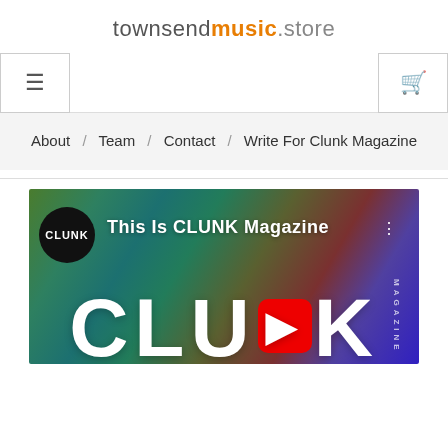townsendmusic.store
≡
🛒
About / Team / Contact / Write For Clunk Magazine
[Figure (screenshot): CLUNK Magazine YouTube thumbnail with colorful background and large CLUNK text with a red play button icon. Shows 'This Is CLUNK Magazine' title text and CLUNK circle logo.]